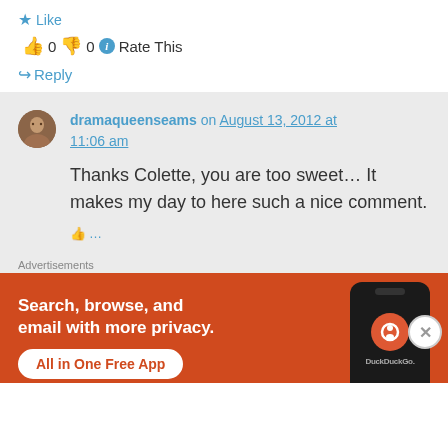★ Like
👍 0 👎 0 ℹ Rate This
↪ Reply
dramaqueenseams on August 13, 2012 at 11:06 am
Thanks Colette, you are too sweet… It makes my day to here such a nice comment.
Advertisements
[Figure (screenshot): DuckDuckGo advertisement banner with orange background showing 'Search, browse, and email with more privacy. All in One Free App' with a phone mockup and DuckDuckGo logo]